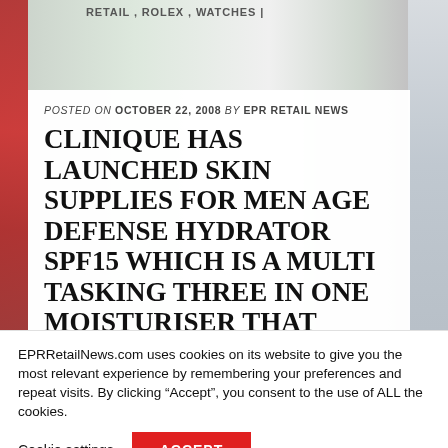RETAIL , ROLEX , WATCHES |
POSTED ON OCTOBER 22, 2008 BY EPR RETAIL NEWS
CLINIQUE HAS LAUNCHED SKIN SUPPLIES FOR MEN AGE DEFENSE HYDRATOR SPF15 WHICH IS A MULTI TASKING THREE IN ONE MOISTURISER THAT DELIVERS EFFECTIVE ANTI-AGING
EPRRetailNews.com uses cookies on its website to give you the most relevant experience by remembering your preferences and repeat visits. By clicking “Accept”, you consent to the use of ALL the cookies.
Cookie settings   ACCEPT